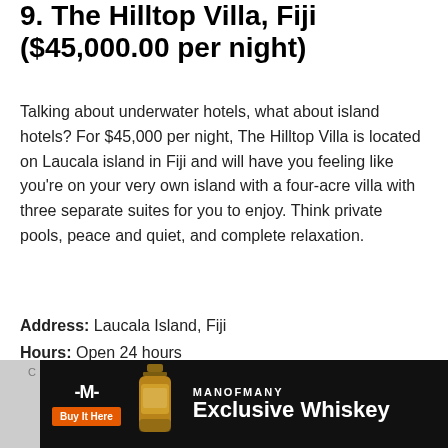9. The Hilltop Villa, Fiji ($45,000.00 per night)
Talking about underwater hotels, what about island hotels? For $45,000 per night, The Hilltop Villa is located on Laucala island in Fiji and will have you feeling like you're on your very own island with a four-acre villa with three separate suites for you to enjoy. Think private pools, peace and quiet, and complete relaxation.
Address: Laucala Island, Fiji
Hours: Open 24 hours
Phone: +679 888 0077
Price: USD$45,000.00 per night
[Figure (other): Advertisement banner for Man of Many Exclusive Whiskey with Buy It Here button]